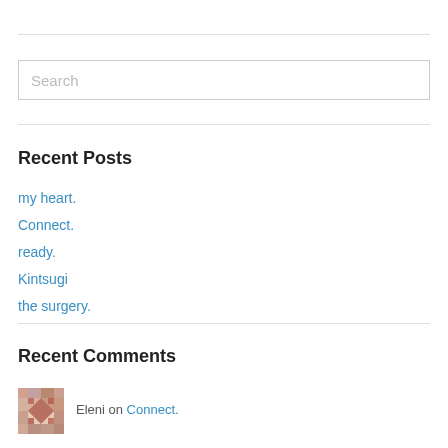[Figure (other): Search input box with placeholder text 'Search']
Recent Posts
my heart.
Connect.
ready.
Kintsugi
the surgery.
Recent Comments
Eleni on Connect.